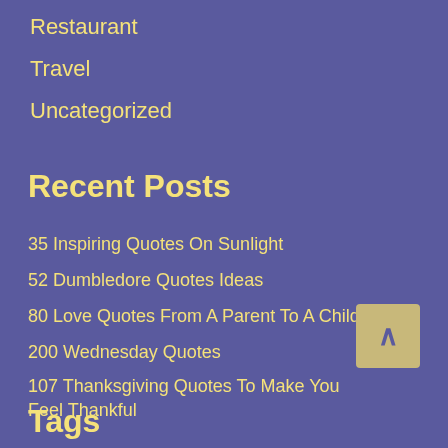Restaurant
Travel
Uncategorized
Recent Posts
35 Inspiring Quotes On Sunlight
52 Dumbledore Quotes Ideas
80 Love Quotes From A Parent To A Child
200 Wednesday Quotes
107 Thanksgiving Quotes To Make You Feel Thankful
Tags